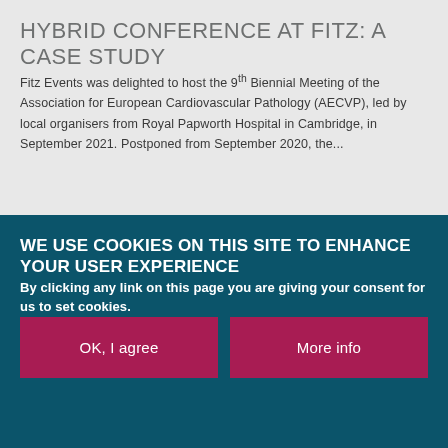HYBRID CONFERENCE AT FITZ: A CASE STUDY
Fitz Events was delighted to host the 9th Biennial Meeting of the Association for European Cardiovascular Pathology (AECVP), led by local organisers from Royal Papworth Hospital in Cambridge, in September 2021. Postponed from September 2020, the...
WE USE COOKIES ON THIS SITE TO ENHANCE YOUR USER EXPERIENCE
By clicking any link on this page you are giving your consent for us to set cookies.
OK, I agree
More info